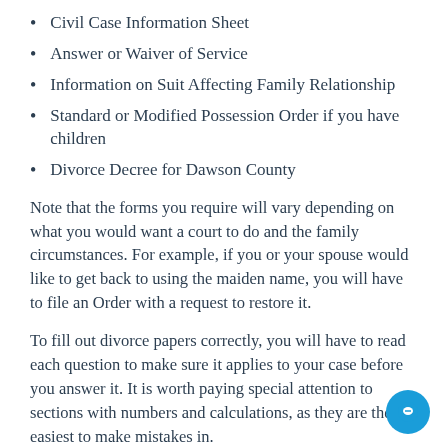Civil Case Information Sheet
Answer or Waiver of Service
Information on Suit Affecting Family Relationship
Standard or Modified Possession Order if you have children
Divorce Decree for Dawson County
Note that the forms you require will vary depending on what you would want a court to do and the family circumstances. For example, if you or your spouse would like to get back to using the maiden name, you will have to file an Order with a request to restore it.
To fill out divorce papers correctly, you will have to read each question to make sure it applies to your case before you answer it. It is worth paying special attention to sections with numbers and calculations, as they are the easiest to make mistakes in.
Signing the forms right after you are done filling them in